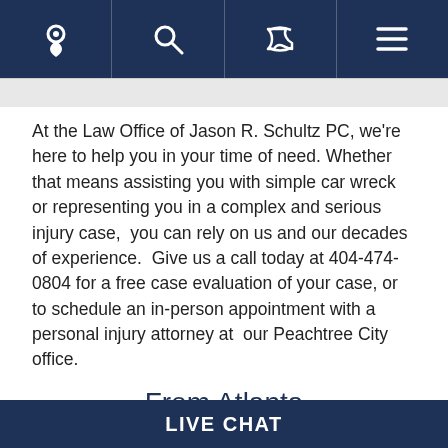[Navigation bar with location, search, phone, and menu icons]
At the Law Office of Jason R. Schultz PC, we're here to help you in your time of need. Whether that means assisting you with simple car wreck or representing you in a complex and serious injury case,  you can rely on us and our decades of experience.  Give us a call today at 404-474-0804 for a free case evaluation of your case, or to schedule an in-person appointment with a personal injury attorney at  our Peachtree City office.
From Atlanta
Take I-85 South to the GA-74 S exit, EXIT 61 for Fairburn/Peachtree City.
LIVE CHAT